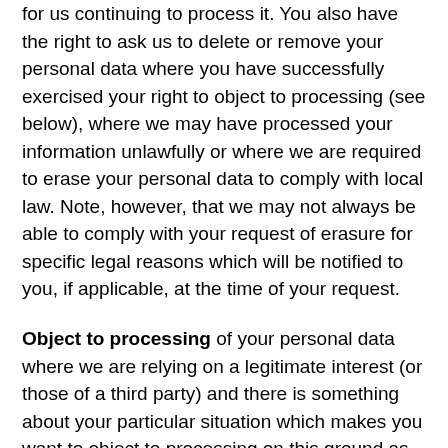for us continuing to process it. You also have the right to ask us to delete or remove your personal data where you have successfully exercised your right to object to processing (see below), where we may have processed your information unlawfully or where we are required to erase your personal data to comply with local law. Note, however, that we may not always be able to comply with your request of erasure for specific legal reasons which will be notified to you, if applicable, at the time of your request.
Object to processing of your personal data where we are relying on a legitimate interest (or those of a third party) and there is something about your particular situation which makes you want to object to processing on this ground as you feel it impacts on your